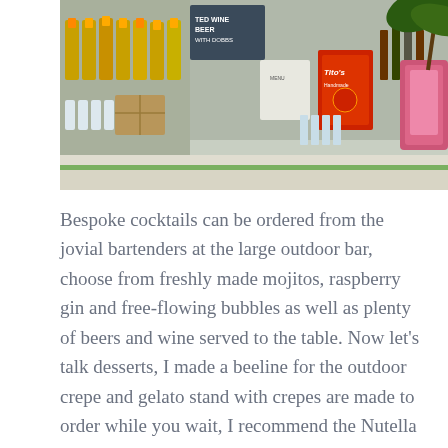[Figure (photo): Outdoor bar setup with bottles of champagne and wine on shelves, a Tito's Handmade Vodka box, signs reading 'TED WINE BEER WITH DOBBS', glassware, and a pink drink dispenser, with a palm tree in the background]
Bespoke cocktails can be ordered from the jovial bartenders at the large outdoor bar, choose from freshly made mojitos, raspberry gin and free-flowing bubbles as well as plenty of beers and wine served to the table. Now let's talk desserts, I made a beeline for the outdoor crepe and gelato stand with crepes are made to order while you wait, I recommend the Nutella filled crepe topped with caramel ice-cream. Satisfy your sweet tooth from the ample choice of miniature brunch style sweet treats and fresh fruit that are set-up indoors around the restaurant entrance. Finish with some cheese from the large selection centrally presented in the show kitchen.